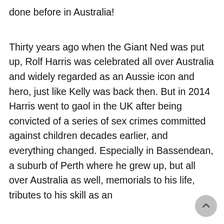done before in Australia!
Thirty years ago when the Giant Ned was put up, Rolf Harris was celebrated all over Australia and widely regarded as an Aussie icon and hero, just like Kelly was back then. But in 2014 Harris went to gaol in the UK after being convicted of a series of sex crimes committed against children decades earlier, and everything changed. Especially in Bassendean, a suburb of Perth where he grew up, but all over Australia as well, memorials to his life, tributes to his skill as an